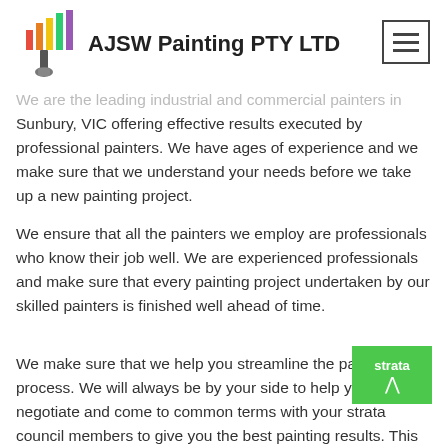AJSW Painting PTY LTD
We are the leading industrial and commercial painters in Sunbury, VIC offering effective results executed by professional painters. We have ages of experience and we make sure that we understand your needs before we take up a new painting project.
We ensure that all the painters we employ are professionals who know their job well. We are experienced professionals and make sure that every painting project undertaken by our skilled painters is finished well ahead of time.
We make sure that we help you streamline the painting process. We will always be by your side to help your negotiate and come to common terms with your strata council members to give you the best painting results. This makes us the best choice in Sunbury if you're looking for